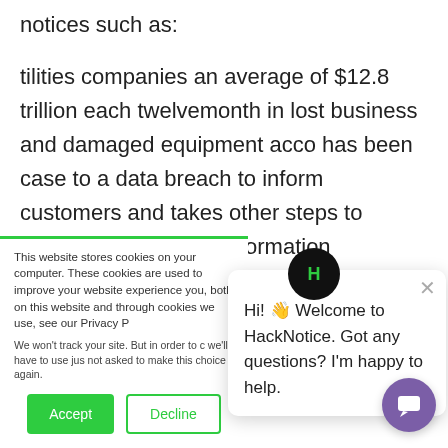notices such as:
tilities companies an average of $12.8 trillion each twelvemonth in lost business and damaged equipment acco has been case to a data breach to inform customers and takes other steps to remediate possible i information disclosure, data leak, information leakage and also data spill. Incidents
This website stores cookies on your computer. These cookies are used to improve your website experience you, both on this website and through cookies we use, see our Privacy P
We won't track your site. But in order to c we'll have to use jus not asked to make this choice again.
Accept
Decline
Hi! 👋 Welcome to HackNotice. Got any questions? I'm happy to help.